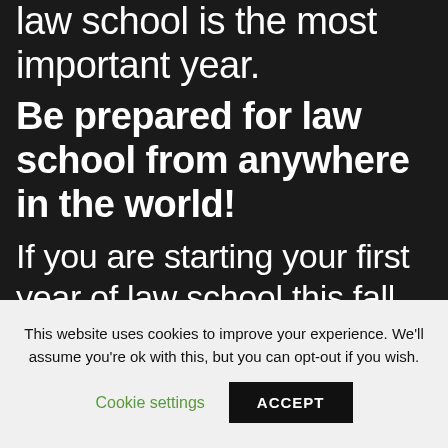law school is the most important year.
Be prepared for law school from anywhere in the world!
If you are starting your first year of law school this fall, apply
This website uses cookies to improve your experience. We'll assume you're ok with this, but you can opt-out if you wish.
Cookie settings   ACCEPT